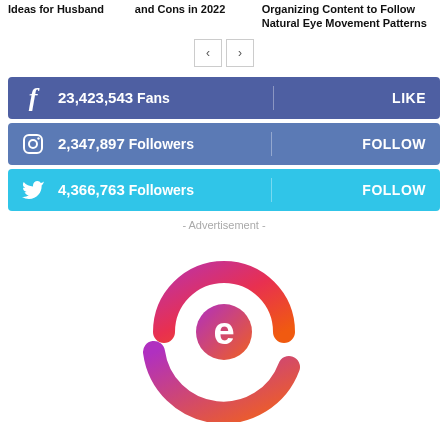Ideas for Husband
and Cons in 2022
Organizing Content to Follow Natural Eye Movement Patterns
[Figure (other): Navigation arrows (previous/next) for a content carousel]
[Figure (infographic): Facebook social bar: 23,423,543 Fans — LIKE]
[Figure (infographic): Instagram social bar: 2,347,897 Followers — FOLLOW]
[Figure (infographic): Twitter social bar: 4,366,763 Followers — FOLLOW]
- Advertisement -
[Figure (logo): Stylized letter 'e' logo with gradient from purple/pink to red/orange, circular arc shape]